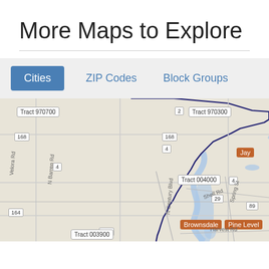More Maps to Explore
[Figure (map): Interactive map showing census tracts in the Jay, Florida area including Tract 970700, Tract 970300, Tract 004000, Tract 003900, with roads, waterways, and labeled places including Brownsdale, Pine Level, Jay. Road shields for routes 2, 4, 29, 89, 164, 168 are visible.]
Cities  ZIP Codes  Block Groups